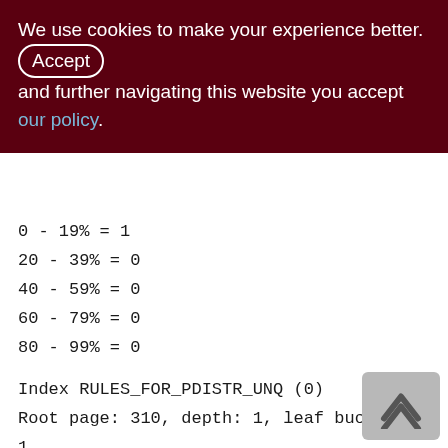We use cookies to make your experience better. By accepting and further navigating this website you accept our policy.
0 - 19% = 1
20 - 39% = 0
40 - 59% = 0
60 - 79% = 0
80 - 99% = 0
Index RULES_FOR_PDISTR_UNQ (0)
Root page: 310, depth: 1, leaf buckets: 1, nodes: 4
Average node length: 11.50, total dup: 0, max dup: 0
Average key length: 10.25, compression ratio: 0.88